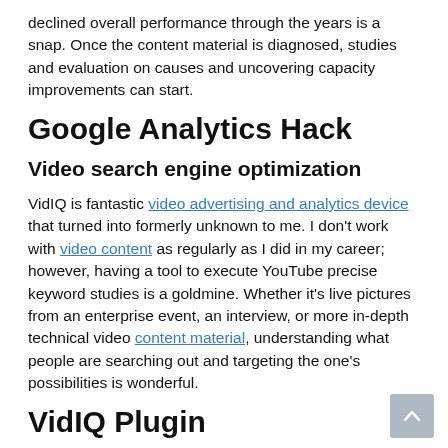declined overall performance through the years is a snap. Once the content material is diagnosed, studies and evaluation on causes and uncovering capacity improvements can start.
Google Analytics Hack
Video search engine optimization
VidIQ is fantastic video advertising and analytics device that turned into formerly unknown to me. I don't work with video content as regularly as I did in my career; however, having a tool to execute YouTube precise keyword studies is a goldmine. Whether it's live pictures from an enterprise event, an interview, or more in-depth technical video content material, understanding what people are searching out and targeting the one's possibilities is wonderful.
VidIQ Plugin